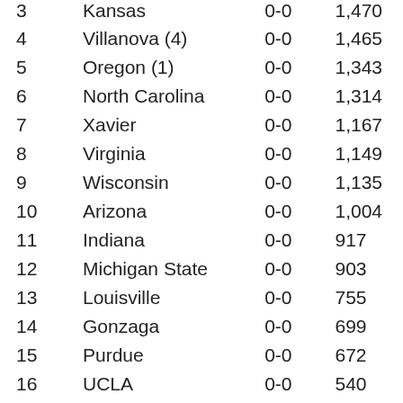| Rank | Team | Record | Points |
| --- | --- | --- | --- |
| 3 | Kansas | 0-0 | 1,470 |
| 4 | Villanova (4) | 0-0 | 1,465 |
| 5 | Oregon (1) | 0-0 | 1,343 |
| 6 | North Carolina | 0-0 | 1,314 |
| 7 | Xavier | 0-0 | 1,167 |
| 8 | Virginia | 0-0 | 1,149 |
| 9 | Wisconsin | 0-0 | 1,135 |
| 10 | Arizona | 0-0 | 1,004 |
| 11 | Indiana | 0-0 | 917 |
| 12 | Michigan State | 0-0 | 903 |
| 13 | Louisville | 0-0 | 755 |
| 14 | Gonzaga | 0-0 | 699 |
| 15 | Purdue | 0-0 | 672 |
| 16 | UCLA | 0-0 | 540 |
| 17 | Saint Mary's | 0-0 | 512 |
| 18 | Connecticut | 0-0 | 504 |
| 19 | Syracuse | 0-0 | 464 |
| 20 | West Virginia | 0-0 | 360 |